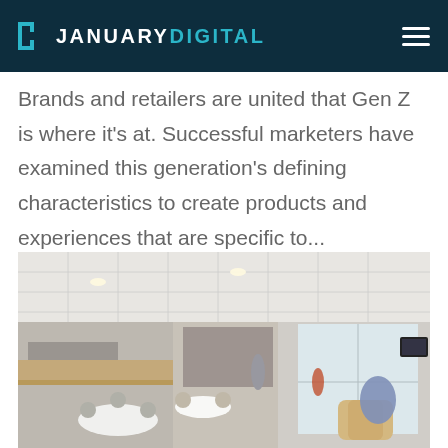JANUARY DIGITAL
Brands and retailers are united that Gen Z is where it's at. Successful marketers have examined this generation's defining characteristics to create products and experiences that are specific to...
[Figure (photo): Interior rendering of a modern retail or office lounge space with tables, chairs, and seating areas. Several people are visible in the space. A sign reading 'GENESIS' is visible on the left wall. The space features wood accents, recessed ceiling tiles, and large windows.]